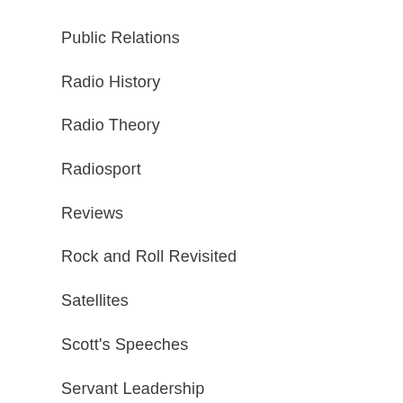Public Relations
Radio History
Radio Theory
Radiosport
Reviews
Rock and Roll Revisited
Satellites
Scott's Speeches
Servant Leadership
Sixty Second Life Hacks
Social Media Insights